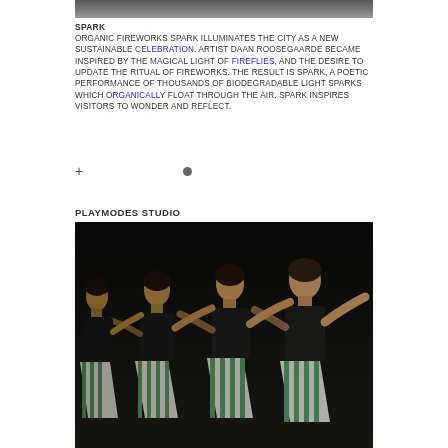[Figure (photo): Partial top image (cropped) showing what appears to be a light/fireworks installation, dark scene]
SPARK
ORGANIC FIREWORKS SPARK ILLUMINATES THE CITY AS A NEW SUSTAINABLE CELEBRATION. ARTIST DAAN ROOSEGAARDE BECAME INSPIRED BY THE MAGICAL LIGHT OF FIREFLIES, AND THE DESIRE TO UPDATE THE RITUAL OF FIREWORKS. THE RESULT IS SPARK, A POETIC PERFORMANCE OF THOUSANDS OF BIODEGRADABLE LIGHT SPARKS WHICH ORGANICALLY FLOAT THROUGH THE AIR. SPARK INSPIRES VISITORS TO WONDER AND REFLECT.
PLAYMODES STUDIO
[Figure (photo): Photograph of multiple young dancers in striped costumes (teal/white stripes) performing on a dark stage, arms outstretched, shown in a repeating/motion-blur style composition]